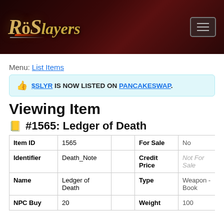RöSlayers
Menu: List Items
👍 $SLYR IS NOW LISTED ON PANCAKESWAP.
Viewing Item
#1565: Ledger of Death
|  |  |  | For Sale | No |
| --- | --- | --- | --- | --- |
| Item ID | 1565 |  | For Sale | No |
| Identifier | Death_Note |  | Credit Price | Not For Sale |
| Name | Ledger of Death |  | Type | Weapon - Book |
| NPC Buy | 20 |  | Weight | 100 |